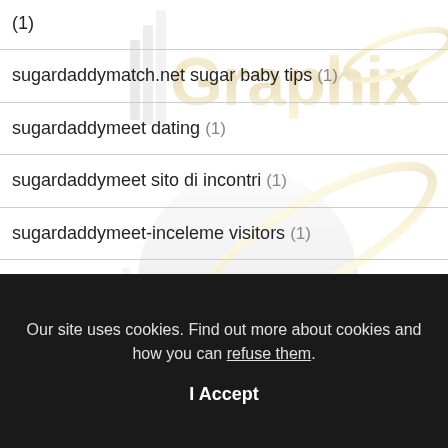(1)
sugardaddymatch.net sugar baby tips (1)
sugardaddymeet dating (1)
sugardaddymeet sito di incontri (1)
sugardaddymeet-inceleme visitors (1)
Swapfinder dating app (1)
[Figure (logo): IllGraphix logo with gold and silver metallic text and orbital ring graphic, repeated as watermark three times across the page]
Our site uses cookies. Find out more about cookies and how you can refuse them.
I Accept